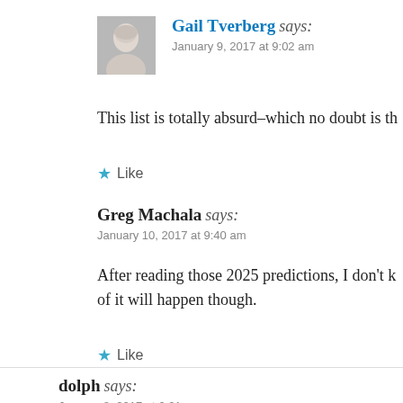Gail Tverberg says:
January 9, 2017 at 9:02 am
This list is totally absurd–which no doubt is th
Like
Greg Machala says:
January 10, 2017 at 9:40 am
After reading those 2025 predictions, I don't k of it will happen though.
Like
dolph says:
January 8, 2017 at 6:21 pm